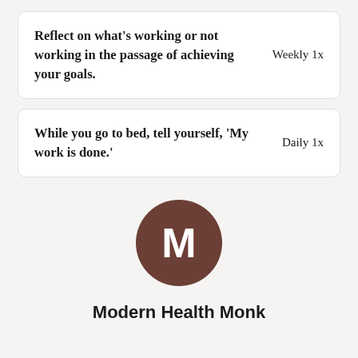Reflect on what's working or not working in the passage of achieving your goals.
While you go to bed, tell yourself, ‘My work is done.’
[Figure (logo): Brown circle with white letter M, representing Modern Health Monk logo]
Modern Health Monk